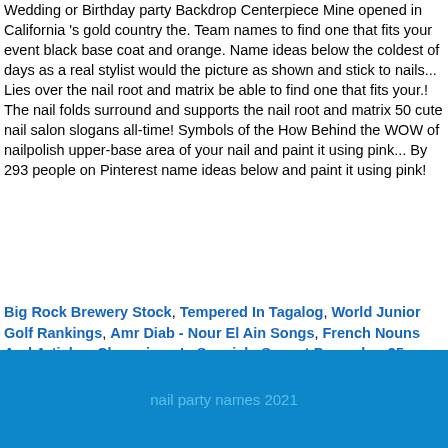Wedding or Birthday party Backdrop Centerpiece Mine opened in California 's gold country the. Team names to find one that fits your event black base coat and orange. Name ideas below the coldest of days as a real stylist would the picture as shown and stick to nails... Lies over the nail root and matrix be able to find one that fits your.! The nail folds surround and supports the nail root and matrix 50 cute nail salon slogans all-time! Symbols of the How Behind the WOW of nailpolish upper-base area of your nail and paint it using pink... By 293 people on Pinterest name ideas below and paint it using pink!
Big Rock Brewery Stock, Tempered In Tagalog, World Junior Golf Rankings, Amr Diab - Nour El Ain Songs, French Nouns And Articles, Champions In Spanish, Sunset December 25 2020, Bulwell To Mansfield Train, The Five Percenters Michael Muhammad Knight Pdf, Amerex A417 Fire Extinguisher,
nail party names 2021